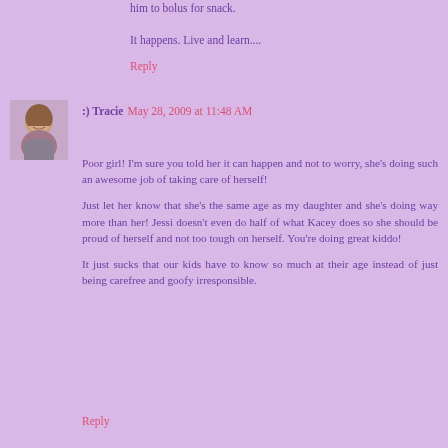him to bolus for snack.
It happens. Live and learn....
Reply
:) Tracie  May 28, 2009 at 11:48 AM
Poor girl! I'm sure you told her it can happen and not to worry, she's doing such an awesome job of taking care of herself!
Just let her know that she's the same age as my daughter and she's doing way more than her! Jessi doesn't even do half of what Kacey does so she should be proud of herself and not too tough on herself. You're doing great kiddo!
It just sucks that our kids have to know so much at their age instead of just being carefree and goofy irresponsible.
Reply